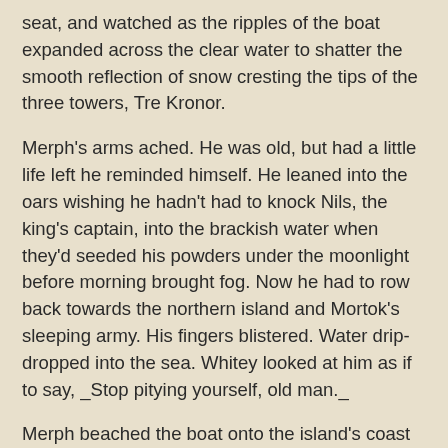seat, and watched as the ripples of the boat expanded across the clear water to shatter the smooth reflection of snow cresting the tips of the three towers, Tre Kronor.
Merph's arms ached. He was old, but had a little life left he reminded himself. He leaned into the oars wishing he hadn't had to knock Nils, the king's captain, into the brackish water when they'd seeded his powders under the moonlight before morning brought fog. Now he had to row back towards the northern island and Mortok's sleeping army. His fingers blistered. Water drip-dropped into the sea. Whitey looked at him as if to say, _Stop pitying yourself, old man._
Merph beached the boat onto the island's coast where Mortok's army held their siege. He'd have one more use for the boat, after he'd visited the commander's tent. Whitey wagged his tail and Merph scruffed the dog's neck.
"No barking," said Merph. "Don't want to wake them up."
One of Mortok's soldiers sprawled across the black and gray stones that poked through the shallow earth here in the